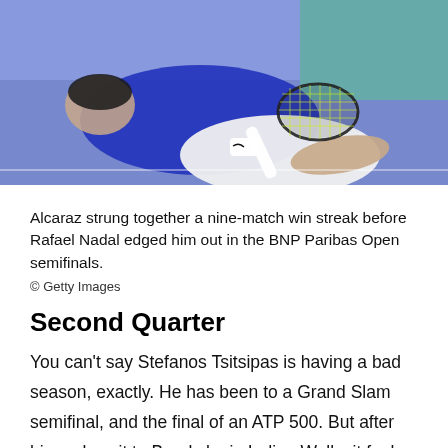[Figure (photo): Tennis player (Alcaraz) on the court floor, leaning over with a tennis racket, wearing a blue Nike shirt and white shorts, on a blue hard court surface.]
Alcaraz strung together a nine-match win streak before Rafael Nadal edged him out in the BNP Paribas Open semifinals.
© Getty Images
Second Quarter
You can't say Stefanos Tsitsipas is having a bad season, exactly. He has been to a Grand Slam semifinal, and the final of an ATP 500. But after his early exit to Brooksby in Indian Wells, it feels as if he's treading water and could use a big win.